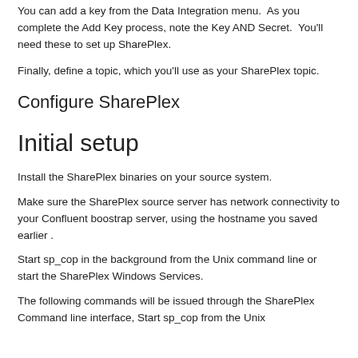You can add a key from the Data Integration menu. As you complete the Add Key process, note the Key AND Secret. You'll need these to set up SharePlex.
Finally, define a topic, which you'll use as your SharePlex topic.
Configure SharePlex
Initial setup
Install the SharePlex binaries on your source system.
Make sure the SharePlex source server has network connectivity to your Confluent boostrap server, using the hostname you saved earlier .
Start sp_cop in the background from the Unix command line or start the SharePlex Windows Services.
The following commands will be issued through the SharePlex Command line interface, Start sp_cop from the Unix